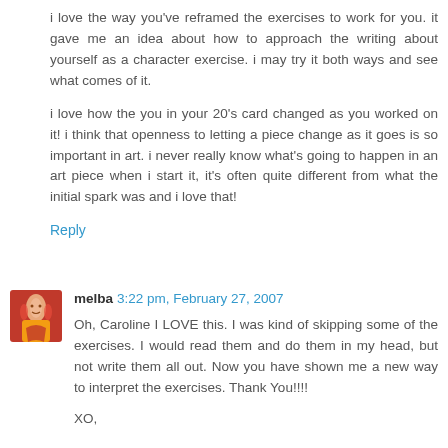i love the way you've reframed the exercises to work for you. it gave me an idea about how to approach the writing about yourself as a character exercise. i may try it both ways and see what comes of it.
i love how the you in your 20's card changed as you worked on it! i think that openness to letting a piece change as it goes is so important in art. i never really know what's going to happen in an art piece when i start it, it's often quite different from what the initial spark was and i love that!
Reply
melba 3:22 pm, February 27, 2007
Oh, Caroline I LOVE this. I was kind of skipping some of the exercises. I would read them and do them in my head, but not write them all out. Now you have shown me a new way to interpret the exercises. Thank You!!!!
XO,